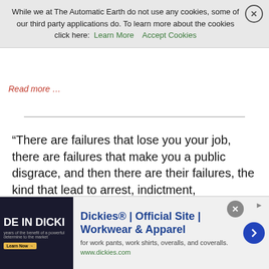While we at The Automatic Earth do not use any cookies, some of our third party applications do. To learn more about the cookies click here: Learn More  Accept Cookies
Read more …
“There are failures that lose you your job, there are failures that make you a public disgrace, and then there are their failures, the kind that lead to arrest, indictment, imprisonment, and worse.”
The Beginning of the End? (eugyp)
[Figure (line-chart): 7-day rolling average line chart showing new COVID-19 cases per million people for South Africa, with multiple wave peaks visible. Y-axis goes up to 300+ cases per million.]
[Figure (infographic): Advertisement for Dickies - Official Site - Workwear & Apparel. Shows Dickies branding with text: for work pants, work shirts, overalls, and coveralls. www.dickies.com]